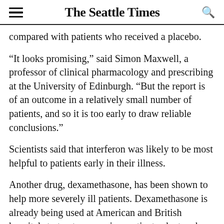The Seattle Times
compared with patients who received a placebo.
“It looks promising,” said Simon Maxwell, a professor of clinical pharmacology and prescribing at the University of Edinburgh. “But the report is of an outcome in a relatively small number of patients, and so it is too early to draw reliable conclusions.”
Scientists said that interferon was likely to be most helpful to patients early in their illness.
Another drug, dexamethasone, has been shown to help more severely ill patients. Dexamethasone is already being used at American and British hospitals to treat coronavirus patients, doctors have said, and the World Health Organization called for accelerating production to ensure an adequate